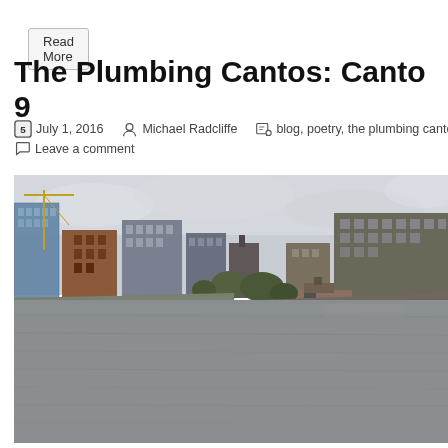Read More
The Plumbing Cantos: Canto 9
July 1, 2016  Michael Radcliffe  blog, poetry, the plumbing cantos, work-  Leave a comment
[Figure (photo): Photograph of the River Thames with modern apartment buildings on both banks under an overcast grey sky. Cranes visible on the left bank. A boat moored on the right bank.]